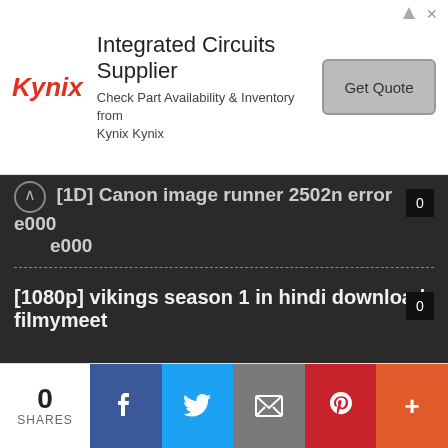[Figure (screenshot): Kynix advertisement banner: Integrated Circuits Supplier — Check Part Availability & Inventory from Kynix Kynix, with Get Quote button]
[1D] Canon image runner 2502n error e000 e000
[1080p] vikings season 1 in hindi download filmymeet
1080P Mirzapur Season 2 Download All Episode 10GB
0 SHARES